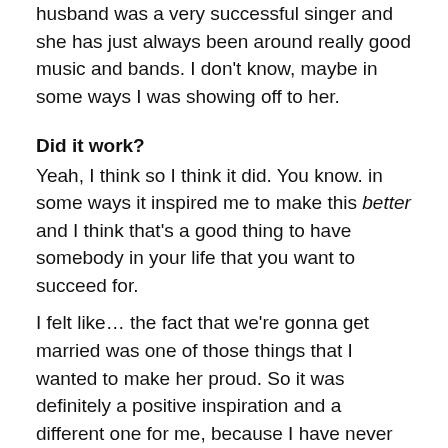husband was a very successful singer and she has just always been around really good music and bands. I don't know, maybe in some ways I was showing off to her.
Did it work?
Yeah, I think so I think it did. You know. in some ways it inspired me to make this better and I think that's a good thing to have somebody in your life that you want to succeed for.
I felt like… the fact that we're gonna get married was one of those things that I wanted to make her proud. So it was definitely a positive inspiration and a different one for me, because I have never been in that situation before when I was making music!
Maybe the whole vibe is different from House of Insanity which was the exact opposite?
For the third, and it had a lot of positive things going in